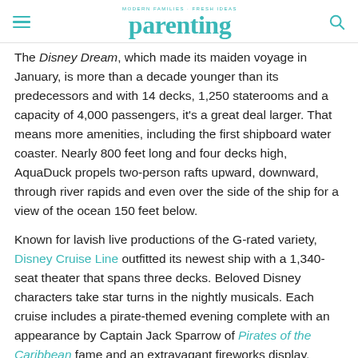MODERN FAMILIES · FRESH IDEAS parenting
The Disney Dream, which made its maiden voyage in January, is more than a decade younger than its predecessors and with 14 decks, 1,250 staterooms and a capacity of 4,000 passengers, it's a great deal larger. That means more amenities, including the first shipboard water coaster. Nearly 800 feet long and four decks high, AquaDuck propels two-person rafts upward, downward, through river rapids and even over the side of the ship for a view of the ocean 150 feet below.
Known for lavish live productions of the G-rated variety, Disney Cruise Line outfitted its newest ship with a 1,340-seat theater that spans three decks. Beloved Disney characters take star turns in the nightly musicals. Each cruise includes a pirate-themed evening complete with an appearance by Captain Jack Sparrow of Pirates of the Caribbean fame and an extravagant fireworks display.